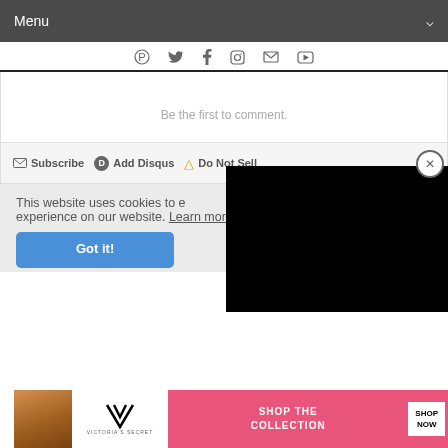Menu
[Figure (screenshot): Social media icon bar with Pinterest, Twitter, Facebook, Instagram, Email, and YouTube icons]
Be the first to comment.
Subscribe  Add Disqus  Do Not Sell
[Figure (screenshot): Black video overlay panel with close button (X in circle)]
This website uses cookies to ensure you get the best experience on our website. Learn more
Got it!
CLOSE
[Figure (photo): Victoria's Secret advertisement banner with model photo, VS logo, SHOP THE COLLECTION text, and SHOP NOW button]